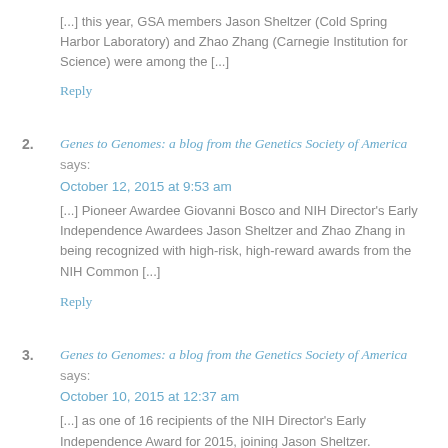[...] this year, GSA members Jason Sheltzer (Cold Spring Harbor Laboratory) and Zhao Zhang (Carnegie Institution for Science) were among the [...]
Reply
2. Genes to Genomes: a blog from the Genetics Society of America says:
October 12, 2015 at 9:53 am
[...] Pioneer Awardee Giovanni Bosco and NIH Director's Early Independence Awardees Jason Sheltzer and Zhao Zhang in being recognized with high-risk, high-reward awards from the NIH Common [...]
Reply
3. Genes to Genomes: a blog from the Genetics Society of America says:
October 10, 2015 at 12:37 am
[...] as one of 16 recipients of the NIH Director's Early Independence Award for 2015, joining Jason Sheltzer. Established in 2011, the Early Independence Awards program provides an opportunity